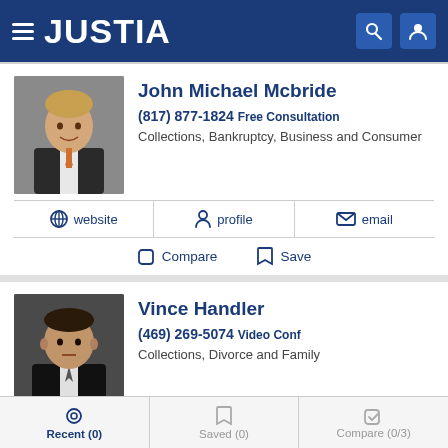JUSTIA
John Michael Mcbride
(817) 877-1824 Free Consultation
Collections, Bankruptcy, Business and Consumer
website | profile | email
Compare | Save
Vince Handler
(469) 269-5074 Video Conf
Collections, Divorce and Family
website | profile | email
Recent (0) | Saved (0) | Compare (0/3)